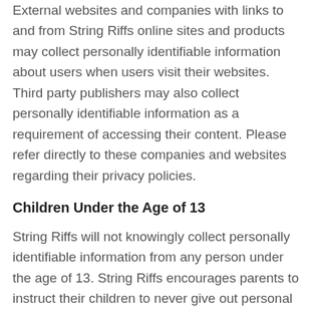External websites and companies with links to and from String Riffs online sites and products may collect personally identifiable information about users when users visit their websites. Third party publishers may also collect personally identifiable information as a requirement of accessing their content. Please refer directly to these companies and websites regarding their privacy policies.
Children Under the Age of 13
String Riffs will not knowingly collect personally identifiable information from any person under the age of 13. String Riffs encourages parents to instruct their children to never give out personal information when online. Parents who are concerned about hte transfer of personal information from their children may contact us.
Cookies and Other Information on a User's Machine